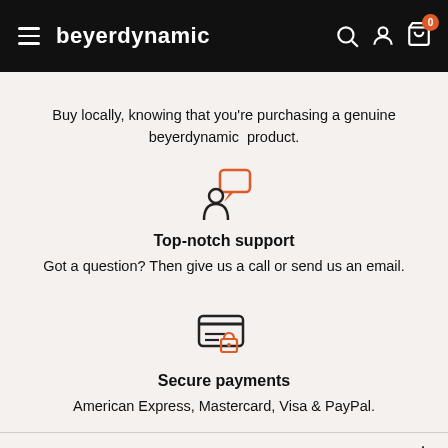beyerdynamic
Buy locally, knowing that you're purchasing a genuine beyerdynamic product.
[Figure (illustration): Person with speech bubble icon in orange and black]
Top-notch support
Got a question? Then give us a call or send us an email.
[Figure (illustration): Credit card with lock icon in orange and black]
Secure payments
American Express, Mastercard, Visa & PayPal.
ABOUT OUR SITE